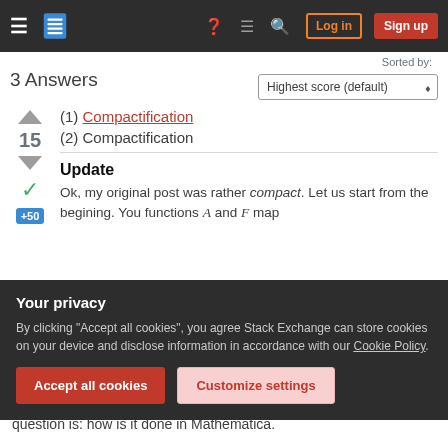Stack Exchange navigation bar with hamburger menu, logo, help, chat, search, Log in, Sign up
Sorted by:
3 Answers
Highest score (default)
(1) Compactification
(2) Compactification
Update
Ok, my original post was rather compact. Let us start from the begining. You functions A and F map
Your privacy
By clicking "Accept all cookies", you agree Stack Exchange can store cookies on your device and disclose information in accordance with our Cookie Policy.
Accept all cookies
Customize settings
question is: how is it done in Mathematica.